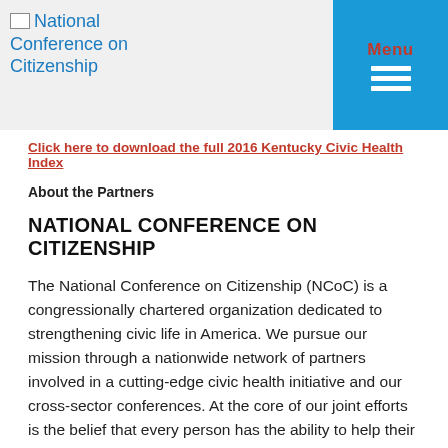National Conference on Citizenship | Menu
Click here to download the full 2016 Kentucky Civic Health Index
About the Partners
NATIONAL CONFERENCE ON CITIZENSHIP
The National Conference on Citizenship (NCoC) is a congressionally chartered organization dedicated to strengthening civic life in America. We pursue our mission through a nationwide network of partners involved in a cutting-edge civic health initiative and our cross-sector conferences. At the core of our joint efforts is the belief that every person has the ability to help their community and country thrive. Learn more at ncoc.org.
WESTERN KENTUCKY UNIVERSITY